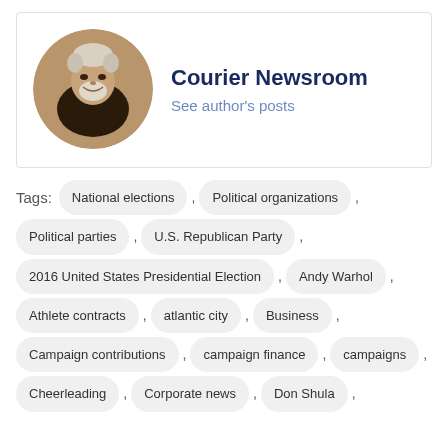[Figure (photo): Circular portrait photo of an older man with gray/white hair and beard, smiling, wearing a dark shirt]
Courier Newsroom
See author's posts
Tags: National elections , Political organizations , Political parties , U.S. Republican Party , 2016 United States Presidential Election , Andy Warhol , Athlete contracts , atlantic city , Business , Campaign contributions , campaign finance , campaigns , Cheerleading , Corporate news , Don Shula ,